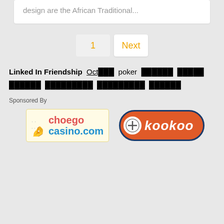design are the African Traditional...
1  Next
Linked In Friendship  Oct███  poker  ██████  █████  ██████  █████████  █████████  ██████
Sponsored By
[Figure (logo): choego casino.com logo with hand icon on yellow background]
[Figure (logo): kookoo logo with plus circle on orange/red background with dark blue border]